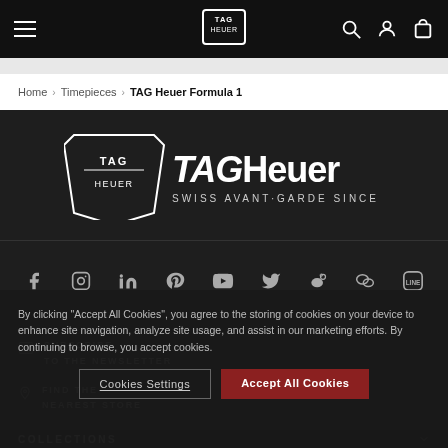TAG Heuer navigation bar with hamburger menu, logo, search, account, and cart icons
Home › Timepieces › TAG Heuer Formula 1
[Figure (logo): TAG Heuer logo with shield emblem and text 'TAGHeuer SWISS AVANT-GARDE SINCE 1860' on dark background]
[Figure (infographic): Social media icons row: Facebook, Instagram, LinkedIn, Pinterest, YouTube, Twitter, Weibo, WeChat, LINE]
By clicking "Accept All Cookies", you agree to the storing of cookies on your device to enhance site navigation, analyze site usage, and assist in our marketing efforts. By continuing to browse, you accept cookies.
SUBSCRIBE TO THE NEWSLETTER
FIND THE NEAREST STORE
Cookies Settings
Accept All Cookies
COLLECTIONS